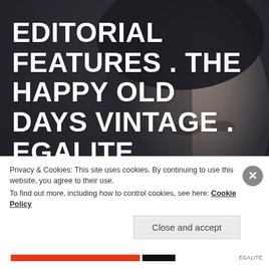[Figure (photo): Dark portrait photo of a woman with dark hair against a blurred dark background, serving as the page background]
EDITORIAL FEATURES . THE HAPPY OLD DAYS VINTAGE . EGALITE
Fashion Editorial Happy Old Days was featured in Egalite Magazine. The editorial presents her brand signature, classy, glamour with an old school touch. The brands carry the taste of classic fashion from
Privacy & Cookies: This site uses cookies. By continuing to use this website, you agree to their use.
To find out more, including how to control cookies, see here: Cookie Policy
Close and accept